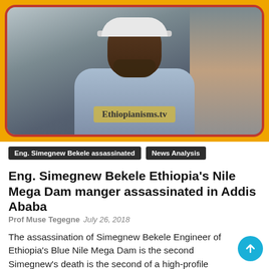[Figure (photo): Photo of a man wearing a white cap and blue shirt, with Ethiopianisms.tv watermark overlay. Red rounded-corner border frame around the image.]
Ethiopianisms.tv
Eng. Simegnew Bekele assassinated
News Analysis
Eng. Simegnew Bekele Ethiopia’s Nile Mega Dam manger assassinated in Addis Ababa
Prof Muse Tegegne   July 26, 2018
The assassination of Simegnew Bekele Engineer of Ethiopia’s Blue Nile Mega Dam is the second Simegnew’s death is the second of a high-profile company official gunmen ambushed and killed the